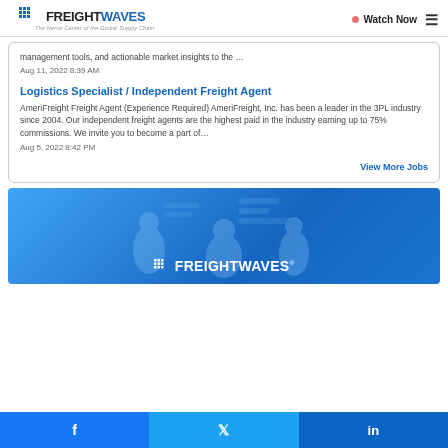FREIGHTWAVES — The Nerve Center of the Global Supply Chain | Watch Now | Menu
management tools, and actionable market insights to the …
Aug 11, 2022 8:39 AM
Logistics Specialist / Independent Freight Agent
AmeriFreight Freight Agent (Experience Required) AmeriFreight, Inc. has been a leader in the 3PL industry since 2004. Our independent freight agents are the highest paid in the industry earning up to 75% commissions. We invite you to become a part of…
Aug 5, 2022 8:42 PM
View More Jobs
[Figure (photo): FreightWaves branded blue banner with silhouetted people in background and FreightWaves logo in white]
Facebook | Twitter | LinkedIn